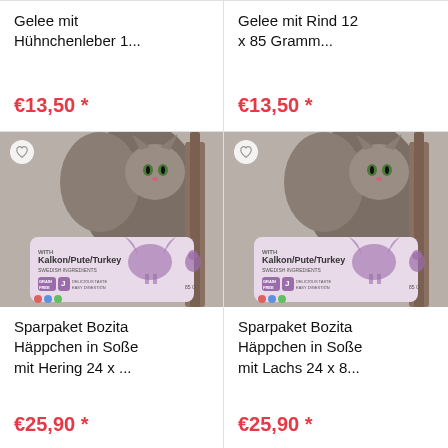Gelee mit Hühnchenleber 1...
€13,50 *
Gelee mit Rind 12 x 85 Gramm...
€13,50 *
[Figure (photo): Cat food product Bozita Häppchen in Soße mit Hering, Kalkon/Pute/Turkey pouch with cat image]
Sparpaket Bozita Häppchen in Soße mit Hering 24 x ...
€25,90 *
[Figure (photo): Cat food product Bozita Häppchen in Soße mit Lachs, Kalkon/Pute/Turkey pouch with cat image]
Sparpaket Bozita Häppchen in Soße mit Lachs 24 x 8...
€25,90 *